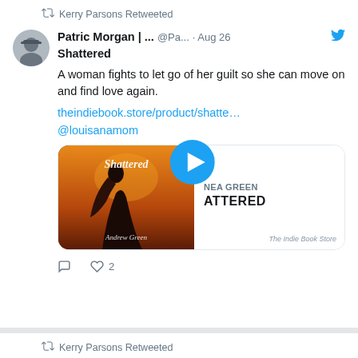Kerry Parsons Retweeted
Patric Morgan | ... @Pa... · Aug 26
Shattered
A woman fights to let go of her guilt so she can move on and find love again.
theindiebook.store/product/shatte…
@louisanamom
[Figure (screenshot): Book cover for 'Shattered' by Andrew Green showing silhouette of woman with video play button overlay, alongside text 'nea green ATTERED' and 'The Indie Book Store']
2 likes
Kerry Parsons Retweeted